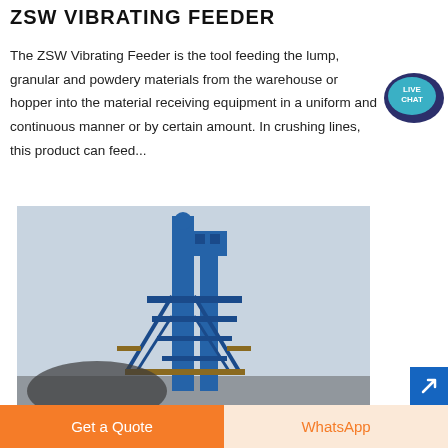ZSW VIBRATING FEEDER
The ZSW Vibrating Feeder is the tool feeding the lump, granular and powdery materials from the warehouse or hopper into the material receiving equipment in a uniform and continuous manner or by certain amount. In crushing lines, this product can feed...
[Figure (photo): Industrial vibrating feeder / crushing plant tower structure — tall blue metal tower with conveyor structure, photographed against a grey sky]
Get a Quote
WhatsApp